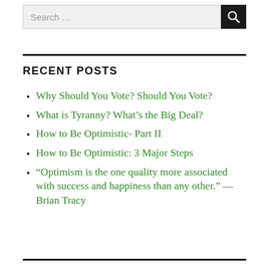Search ...
RECENT POSTS
Why Should You Vote? Should You Vote?
What is Tyranny? What's the Big Deal?
How to Be Optimistic- Part II
How to Be Optimistic: 3 Major Steps
“Optimism is the one quality more associated with success and happiness than any other.” — Brian Tracy